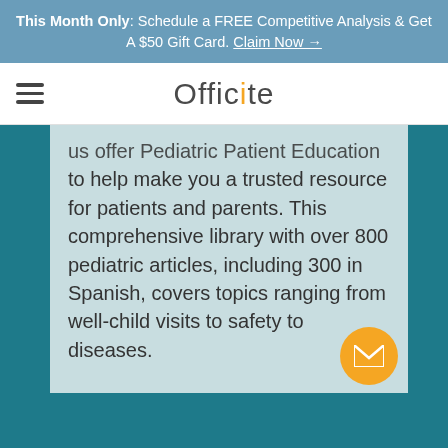This Month Only: Schedule a FREE Competitive Analysis & Get A $50 Gift Card. Claim Now →
[Figure (logo): Officite logo with hamburger menu icon on the left and the word 'Officite' centered, with the letter 'i' highlighted in orange]
us offer Pediatric Patient Education to help make you a trusted resource for patients and parents. This comprehensive library with over 800 pediatric articles, including 300 in Spanish, covers topics ranging from well-child visits to safety to diseases.